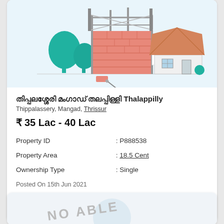[Figure (illustration): Real estate listing illustration showing a house under construction with scaffolding, brick wall, teal trees, and a white house with orange roof on the right side]
തിപ്പലശ്ശേരി മംഗാട് തലപ്പിള്ളി Thalappilly
Thippalassery, Mangad, Thrissur
₹ 35 Lac - 40 Lac
| Field | Value |
| --- | --- |
| Property ID | : P888538 |
| Property Area | : 18.5 Cent |
| Ownership Type | : Single |
Posted On 15th Jun 2021
VIEW DETAILS   CONTACT
[Figure (illustration): Second card partially visible showing watermark text NO IMAGE AVAILABLE]